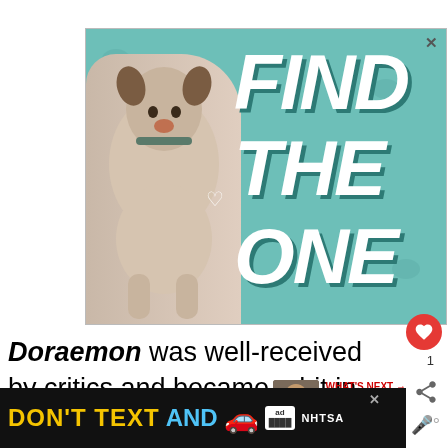[Figure (illustration): Advertisement banner with teal background showing a Great Dane dog and large bold italic white text reading FIND THE ONE with a close button (X) in top right corner]
Doraemon was well-received by critics and became a hit in many Asian countries. As of 2019, it has
[Figure (illustration): Bottom advertisement banner with black background showing text 'DON'T TEXT AND' with a car emoji and NHTSA logo, with a close button (X)]